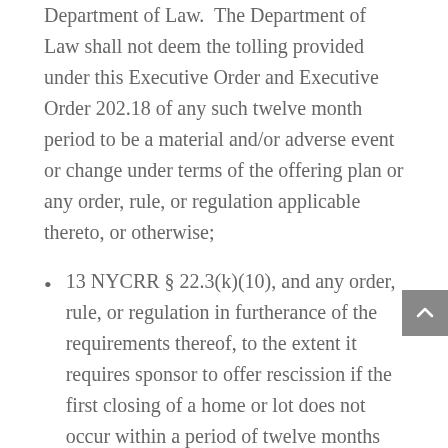Department of Law.  The Department of Law shall not deem the tolling provided under this Executive Order and Executive Order 202.18 of any such twelve month period to be a material and/or adverse event or change under terms of the offering plan or any order, rule, or regulation applicable thereto, or otherwise;
13 NYCRR § 22.3(k)(10), and any order, rule, or regulation in furtherance of the requirements thereof, to the extent it requires sponsor to offer rescission if the first closing of a home or lot does not occur within a period of twelve months after the projected date for such closing (corresponding to the projected first year of operation) as set forth in the offering plan, and any such twelve month period, shall be tolled and extended for a period